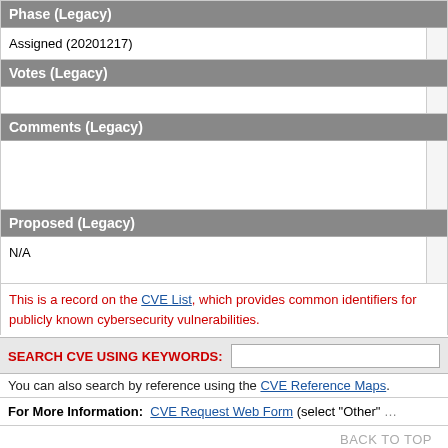| Phase (Legacy) |  |
| --- | --- |
| Assigned (20201217) |  |
| Votes (Legacy) |  |
|  |  |
| Comments (Legacy) |  |
|  |  |
| Proposed (Legacy) |  |
| N/A |  |
This is a record on the CVE List, which provides common identifiers for publicly known cybersecurity vulnerabilities.
SEARCH CVE USING KEYWORDS:
You can also search by reference using the CVE Reference Maps.
For More Information: CVE Request Web Form (select "Other"
BACK TO TOP
Site Map | Terms of Use | Privacy Policy | Contact Us | Follow CVE
Use of the CVE® List and the associated references from this website are subject to the terms of use. CVE is sponsored by the U.S. Department of Homeland